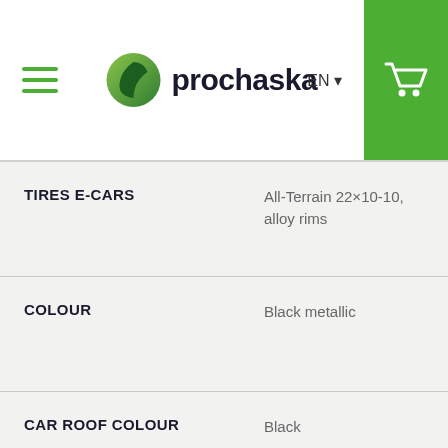prochaska EN
| Attribute | Value |
| --- | --- |
| TIRES E-CARS | All-Terrain 22×10-10, alloy rims |
| COLOUR | Black metallic |
| CAR ROOF COLOUR | Black |
| SEAT COLOUR | Black |